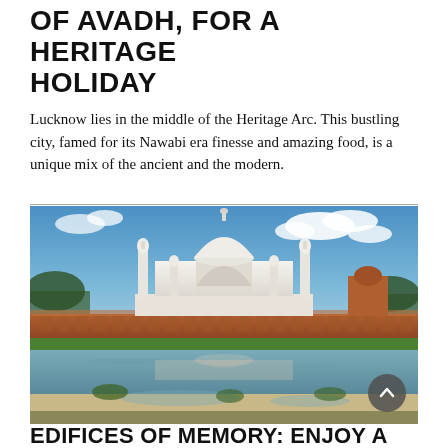OF AVADH, FOR A HERITAGE HOLIDAY
Lucknow lies in the middle of the Heritage Arc. This bustling city, famed for its Nawabi era finesse and amazing food, is a unique mix of the ancient and the modern.
[Figure (photo): Photograph of the Taj Mahal in Agra, India, with its iconic white marble dome and four minarets, red sandstone base wall, and a reflective river/water body in the foreground with lush green trees.]
EDIFICES OF MEMORY: ENJOY A HERITAGE HOLIDAY IN AGRA